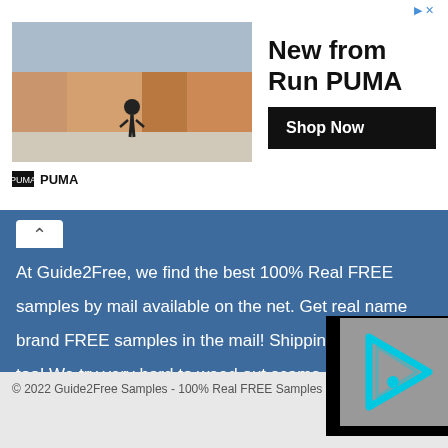[Figure (screenshot): PUMA ad banner showing runner in city square, headline: New from Run PUMA, Shop Now button]
At Guide2Free, we find the best 100% Real FREE samples by mail available on the net. Get real name brand FREE samples in the mail! Shipping is FREE too! We try very hard to weed out scams and fake offers to provide only the best freebies and off...
[Figure (logo): Video player placeholder with cyan play/info icon on grey background]
© 2022 Guide2Free Samples - 100% Real FREE Samples By Mail